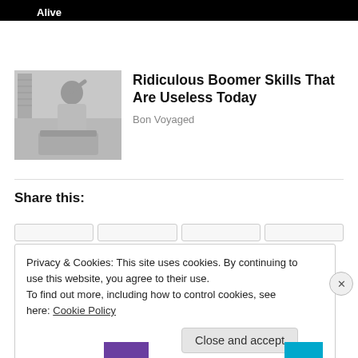Alive
[Figure (photo): Black and white vintage photo of a woman in a floral dress looking stressed near a pile of laundry]
Ridiculous Boomer Skills That Are Useless Today
Bon Voyaged
Share this:
Privacy & Cookies: This site uses cookies. By continuing to use this website, you agree to their use.
To find out more, including how to control cookies, see here: Cookie Policy
Close and accept